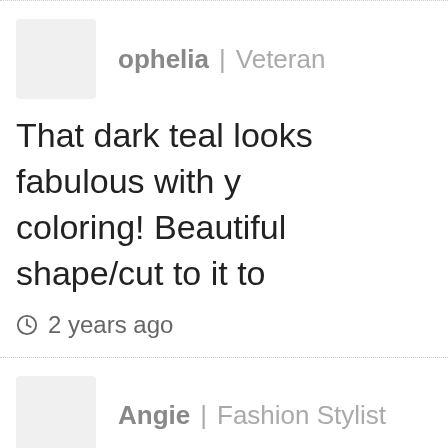ophelia | Veteran
That dark teal looks fabulous with your coloring! Beautiful shape/cut to it to
2 years ago
Angie | Fashion Stylist
You and your son are really adorable together LOVE it. Really handsome